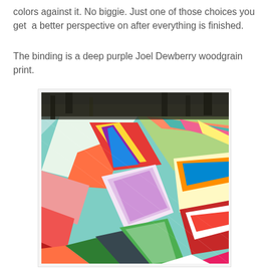colors against it. No biggie. Just one of those choices you get  a better perspective on after everything is finished.
The binding is a deep purple Joel Dewberry woodgrain print.
[Figure (photo): A colorful patchwork quilt with a pinwheel/star pattern made from many different fabric prints in bright colors including teal, orange, red, purple, yellow, pink, navy, and multicolor prints. The quilt is photographed outdoors against a natural background.]